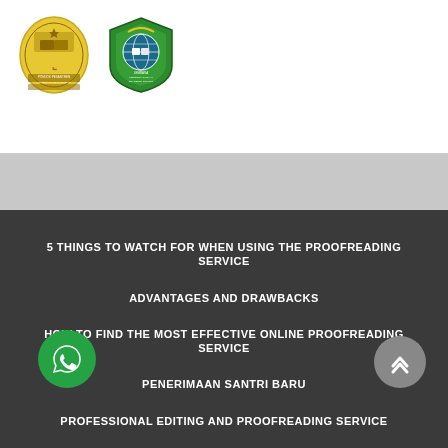[Figure (logo): Two institutional logos: a circular yellow/gold Islamic boarding school badge and a green shield crest with globe and book motifs]
5 THINGS TO WATCH FOR WHEN USING THE PROOFREADING SERVICE
ADVANTAGES AND DRAWBACKS
HOW TO FIND THE MOST EFFECTIVE ONLINE PROOFREADING SERVICE
PENERIMAAN SANTRI BARU
PROFESSIONAL EDITING AND PROOFREADING SERVICE